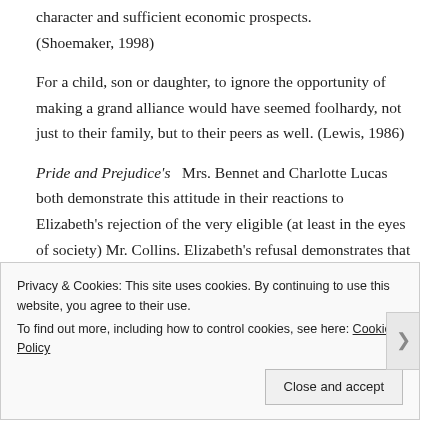character and sufficient economic prospects. (Shoemaker, 1998)
For a child, son or daughter, to ignore the opportunity of making a grand alliance would have seemed foolhardy, not just to their family, but to their peers as well. (Lewis, 1986)
Pride and Prejudice's   Mrs. Bennet and Charlotte Lucas both demonstrate this attitude in their reactions to Elizabeth's rejection of the very eligible (at least in the eyes of society) Mr. Collins. Elizabeth's refusal demonstrates that willful ignorance that parents deeply feared.
Privacy & Cookies: This site uses cookies. By continuing to use this website, you agree to their use.
To find out more, including how to control cookies, see here: Cookie Policy